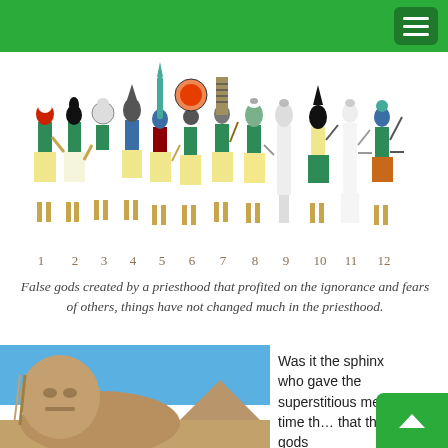[Figure (illustration): Egyptian gods numbered 1 through 12, depicted in traditional Egyptian art style with animal heads and colorful garments, with numbers beneath each figure]
False gods created by a priesthood that profited on the ignorance and fears of others, things have not changed much in the priesthood.
[Figure (photo): Photograph of the Great Sphinx of Giza with a pyramid visible in the background against a blue sky]
Was it the sphinx who gave the superstitious men of time th... that the gods